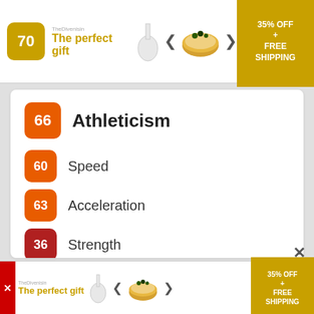[Figure (other): Top advertisement banner: gold score box '70', 'The perfect gift' tagline in gold, product images, navigation arrows, and '35% OFF + FREE SHIPPING' promo box]
66 Athleticism
60 Speed
63 Acceleration
36 Strength
57 Vertical
86 Stamina
80 Hustle
81 Overall Durability
[Figure (other): Bottom advertisement banner: 'The perfect gift' tagline, product images, navigation arrows, and '35% OFF + FREE SHIPPING' promo box]